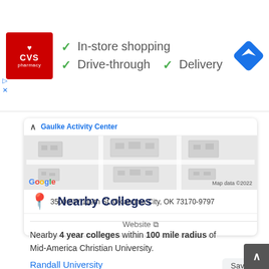[Figure (screenshot): CVS Pharmacy advertisement banner with logo, in-store shopping, drive-through, and delivery checkmarks, and navigation direction icon]
[Figure (map): Google Maps snippet showing Gaulke Activity Center location area, with address 3500 SW 119th St, Oklahoma City, OK 73170-9797 and a Website link]
Nearby Colleges
Nearby 4 year colleges within 100 mile radius of Mid-America Christian University.
Randall University